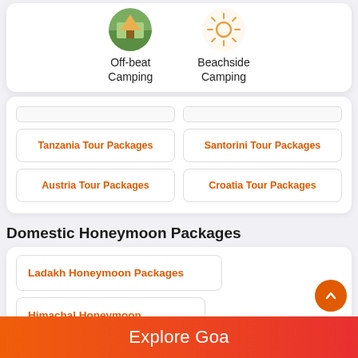[Figure (infographic): Off-beat Camping icon with circular nature photo and Beachside Camping icon with sun symbol]
Tanzania Tour Packages
Santorini Tour Packages
Austria Tour Packages
Croatia Tour Packages
Domestic Honeymoon Packages
Ladakh Honeymoon Packages
Himachal Honeymoon Packages
Kashmir Honeymoon Packages
Explore Goa